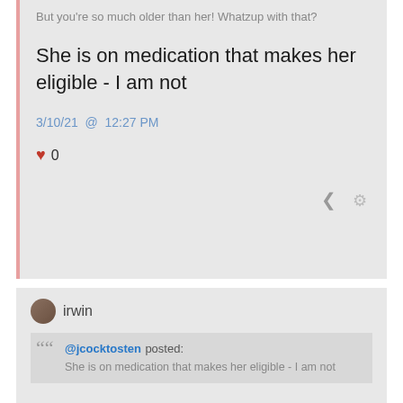But you're so much older than her! Whatzup with that?
She is on medication that makes her eligible - I am not
3/10/21 @ 12:27 PM
♥ 0
irwin
@jcocktosten posted: She is on medication that makes her eligible - I am not